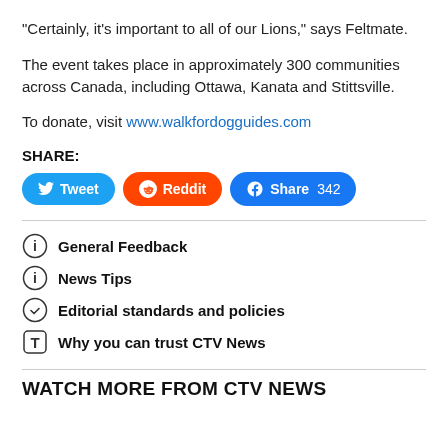"Certainly, it's important to all of our Lions," says Feltmate.
The event takes place in approximately 300 communities across Canada, including Ottawa, Kanata and Stittsville.
To donate, visit www.walkfordogguides.com
SHARE:
General Feedback
News Tips
Editorial standards and policies
Why you can trust CTV News
WATCH MORE FROM CTV NEWS